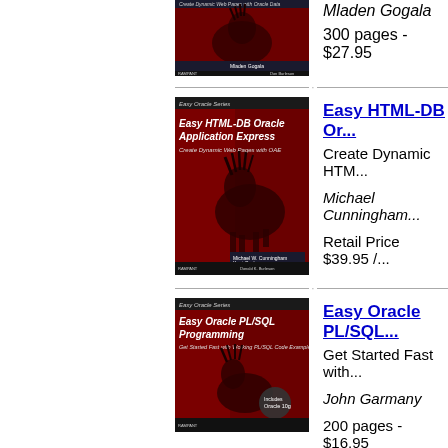[Figure (photo): Book cover: Easy Oracle Series, red background with black horse silhouette, title not fully visible. Author: Mladen Gogala.]
Mladen Gogala
300 pages - $27.95
[Figure (photo): Book cover: Easy Oracle Series - Easy HTML-DB Oracle Application Express: Create Dynamic Web Pages with OAE. Red background with black horse. Authors: Michael W. Cunningham, Kent Crotty.]
Easy HTML-DB Or...
Create Dynamic HTM...
Michael Cunningham...
Retail Price $39.95 /...
[Figure (photo): Book cover: Easy Oracle Series - Easy Oracle PL/SQL Programming: Get Started Fast with Working PL/SQL Code Examples. Red background. Author: John Garmany.]
Easy Oracle PL/SQL...
Get Started Fast with...
John Garmany
200 pages - $16.95